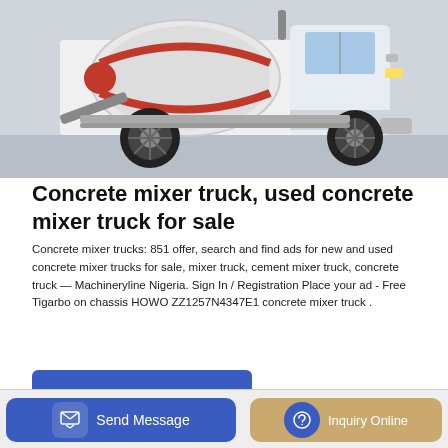[Figure (photo): A white concrete mixer truck (HOWO) with a large cylindrical drum and red stripe, photographed from the side on a gray surface.]
Concrete mixer truck, used concrete mixer truck for sale
Concrete mixer trucks: 851 offer, search and find ads for new and used concrete mixer trucks for sale, mixer truck, cement mixer truck, concrete truck — Machineryline Nigeria. Sign In / Registration Place your ad - Free Tigarbo on chassis HOWO ZZ1257N4347E1 concrete mixer truck .
GET A QUOTE
Send Message
Inquiry Online